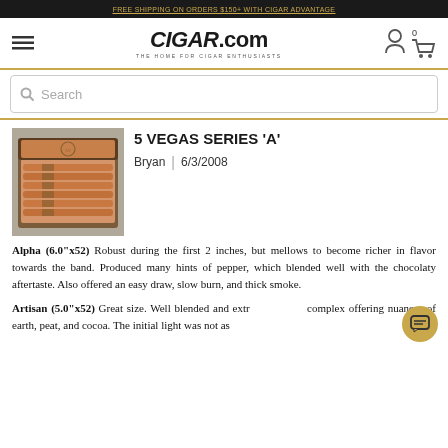FREE SHIPPING ON ORDERS $150+ WITH CIGAR ADVANTAGE
[Figure (logo): CIGAR.com logo — THE HOME FOR CIGAR ENTHUSIASTS]
Search
[Figure (photo): Open box of 5 Vegas Series A cigars arranged in rows inside a wooden humidor box]
5 VEGAS SERIES 'A'
Bryan | 6/3/2008
Alpha (6.0"x52) Robust during the first 2 inches, but mellows to become richer in flavor towards the band. Produced many hints of pepper, which blended well with the chocolaty aftertaste. Also offered an easy draw, slow burn, and thick smoke.
Artisan (5.0"x52) Great size. Well blended and extra complex offering nuances of earth, peat, and cocoa. The initial light was not as